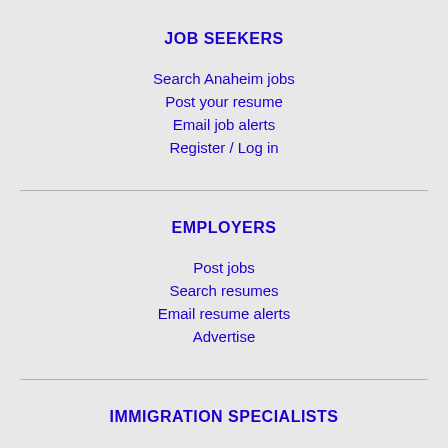JOB SEEKERS
Search Anaheim jobs
Post your resume
Email job alerts
Register / Log in
EMPLOYERS
Post jobs
Search resumes
Email resume alerts
Advertise
IMMIGRATION SPECIALISTS
Post jobs
Immigration FAQs